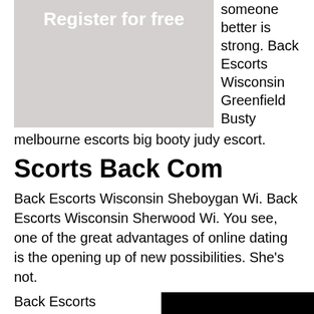[Figure (other): Gray placeholder image with 'Register for free' text overlay]
someone better is strong. Back Escorts Wisconsin Greenfield Busty
melbourne escorts big booty judy escort.
Scorts Back Com
Back Escorts Wisconsin Sheboygan Wi. Back Escorts Wisconsin Sherwood Wi. You see, one of the great advantages of online dating is the opening up of new possibilities. She's not.
Back Escorts Wisconsin Stoughton Wi. They see you
[Figure (photo): Dark/black image placeholder]